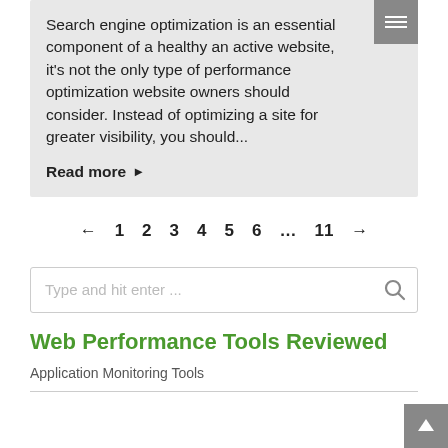Search engine optimization is an essential component of a healthy an active website, it's not the only type of performance optimization website owners should consider. Instead of optimizing a site for greater visibility, you should...
Read more ▶
← 1 2 3 4 5 6 ... 11 →
Type and hit enter ...
Web Performance Tools Reviewed
Application Monitoring Tools